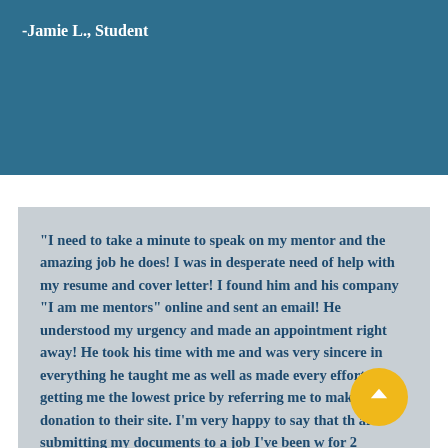-Jamie L., Student
"I need to take a minute to speak on my mentor and the amazing job he does! I was in desperate need of help with my resume and cover letter! I found him and his company "I am me mentors" online and sent an email! He understood my urgency and made an appointment right away! He took his time with me and was very sincere in everything he taught me as well as made every effort in getting me the lowest price by referring me to make a donation to their site. I'm very happy to say that th after submitting my documents to a job I've been w for 2 months, I was hired. The company was highly impressed with my resume and cover letter that Fray so graciously helped me complete! I can't thank him enough and would recommend him and his company hands